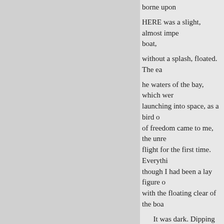borne upon
HERE was a slight, almost impe boat,
without a splash, floated. The ea
he waters of the bay, which wer launching into space, as a bird o of freedom came to me, the unre flight for the first time. Everythi though I had been a lay figure o with the floating clear of the boa
It was dark. Dipping cautiousl Seraphina sat, cloaked and motio him breathe. Everything was left replaced in a moment by all the t
I gave another push, and then courage. And what was this succ twelve-foot dingey looted from s of sordid and ragged outcasts of
Already the wooded shoulder of
« Previous